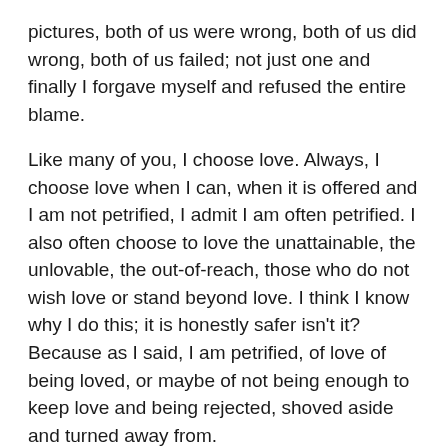pictures, both of us were wrong, both of us did wrong, both of us failed; not just one and finally I forgave myself and refused the entire blame.
Like many of you, I choose love. Always, I choose love when I can, when it is offered and I am not petrified, I admit I am often petrified. I also often choose to love the unattainable, the unlovable, the out-of-reach, those who do not wish love or stand beyond love. I think I know why I do this; it is honestly safer isn't it? Because as I said, I am petrified, of love of being loved, or maybe of not being enough to keep love and being rejected, shoved aside and turned away from.
I have a friend, someone who has known me for more than thirty years she says on the face of it I am a romantic; I like the idea of being loved and in love. The other thing